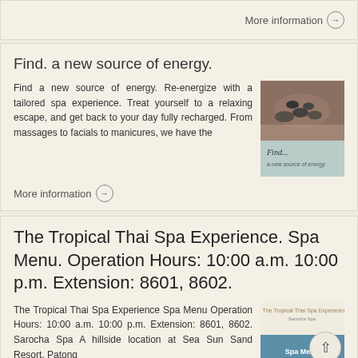More information →
Find. a new source of energy.
Find a new source of energy. Re-energize with a tailored spa experience. Treat yourself to a relaxing escape, and get back to your day fully recharged. From massages to facials to manicures, we have the
[Figure (photo): Spa image showing hot stones on back, with 'Find' brochure below]
More information →
The Tropical Thai Spa Experience. Spa Menu. Operation Hours: 10:00 a.m. 10:00 p.m. Extension: 8601, 8602.
The Tropical Thai Spa Experience Spa Menu Operation Hours: 10:00 a.m. 10:00 p.m. Extension: 8601, 8602. Sarocha Spa A hillside location at Sea Sun Sand Resort, Patong
[Figure (photo): Tropical Thai Spa Experience Spa Menu brochure image with back button overlay]